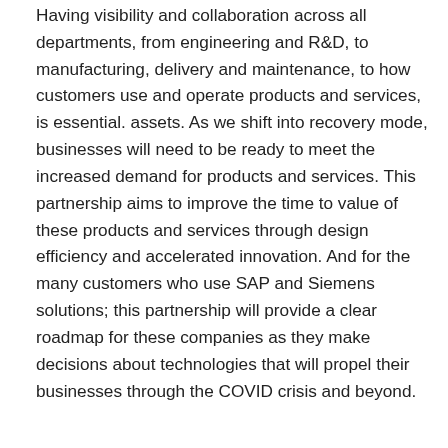Having visibility and collaboration across all departments, from engineering and R&D, to manufacturing, delivery and maintenance, to how customers use and operate products and services, is essential. assets. As we shift into recovery mode, businesses will need to be ready to meet the increased demand for products and services. This partnership aims to improve the time to value of these products and services through design efficiency and accelerated innovation. And for the many customers who use SAP and Siemens solutions; this partnership will provide a clear roadmap for these companies as they make decisions about technologies that will propel their businesses through the COVID crisis and beyond.
[Figure (infographic): Social share bar with Share, Facebook, Twitter, Google+, and + buttons]
[Figure (infographic): Author card showing photo placeholder and name Paul A. Lingle, with orange scroll-to-top button]